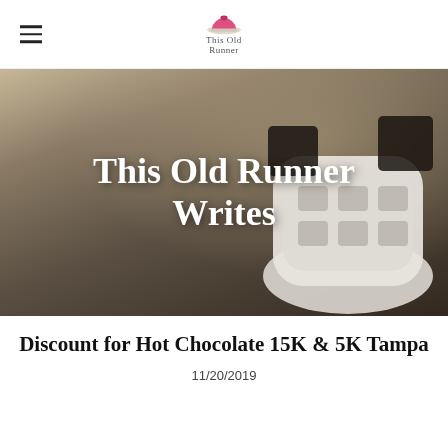This Old Runner (logo with hamburger menu)
[Figure (photo): Hero banner image of a runner's shoe sole close-up on pavement with the text 'This Old Runner Writes' overlaid in white serif font]
Discount for Hot Chocolate 15K & 5K Tampa
11/20/2019